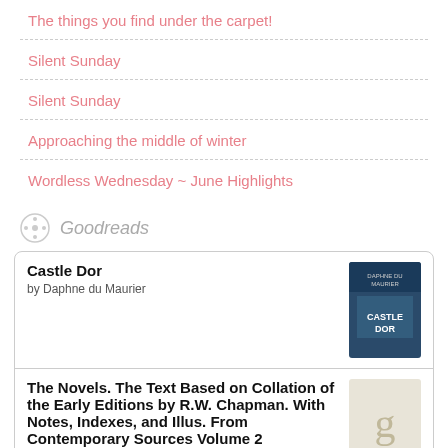The things you find under the carpet!
Silent Sunday
Silent Sunday
Approaching the middle of winter
Wordless Wednesday ~ June Highlights
Goodreads
| Title | Author | Cover |
| --- | --- | --- |
| Castle Dor | by Daphne du Maurier | [cover image] |
| The Novels. The Text Based on Collation of the Early Editions by R.W. Chapman. With Notes, Indexes, and Illus. From Contemporary Sources Volume 2 | by Jane Austen | [placeholder] |